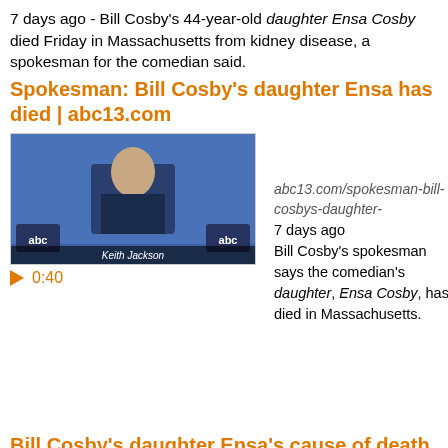7 days ago - Bill Cosby's 44-year-old daughter Ensa Cosby died Friday in Massachusetts from kidney disease, a spokesman for the comedian said.
Spokesman: Bill Cosby's daughter Ensa has died | abc13.com
[Figure (photo): Thumbnail of a video showing an elderly man at a podium with 'abc' branding visible]
0:40  abc13.com/spokesman-bill-cosbys-daughter-  7 days ago  Bill Cosby's spokesman says the comedian's daughter, Ensa Cosby, has died in Massachusetts.
Bill Cosby's daughter Ensa's cause of death confirmed - Mirror Online
https://www.mirror.co.uk › 3am › Celebrity News › bill cosby
6 days ago - Bill Cosby's daughter Ensa Cosby's cause of death has been confirmed, after she died on Friday night at the age of 44. Ensa was the fourth of Bill's four children with his wife Camille, and had been vociferously defensive of her father after he was accused of a string of sexual assault